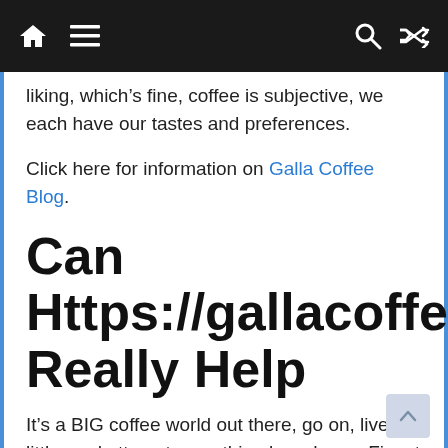Navigation bar with home, menu, search, and shuffle icons
liking, which’s fine, coffee is subjective, we each have our tastes and preferences.
Click here for information on Galla Coffee Blog.
Can Https://gallacoffeeblog.co.uk/ Really Help
It’s a BIG coffee world out there, go on, live a little, and attempt something brand-new. Finest Tasting Coffee Beans Some Great Options From The Grocery Stores Racks! Below are a few of the finest coffee beans that I can’t get enough of this